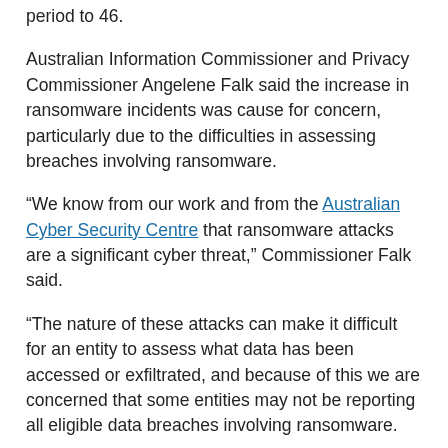period to 46.
Australian Information Commissioner and Privacy Commissioner Angelene Falk said the increase in ransomware incidents was cause for concern, particularly due to the difficulties in assessing breaches involving ransomware.
“We know from our work and from the Australian Cyber Security Centre that ransomware attacks are a significant cyber threat,” Commissioner Falk said.
“The nature of these attacks can make it difficult for an entity to assess what data has been accessed or exfiltrated, and because of this we are concerned that some entities may not be reporting all eligible data breaches involving ransomware.
“We expect entities to have appropriate internal practices, procedures and systems in place to assess and respond to data breaches involving ransomware.